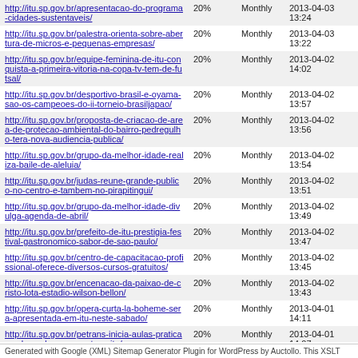| URL | Priority | Change Frequency | Last Modified |
| --- | --- | --- | --- |
| http://itu.sp.gov.br/apresentacao-do-programa-cidades-sustentaveis/ | 20% | Monthly | 2013-04-03 13:24 |
| http://itu.sp.gov.br/palestra-orienta-sobre-abertura-de-micros-e-pequenas-empresas/ | 20% | Monthly | 2013-04-03 13:22 |
| http://itu.sp.gov.br/equipe-feminina-de-itu-conquista-a-primeira-vitoria-na-copa-tv-tem-de-futsal/ | 20% | Monthly | 2013-04-02 14:02 |
| http://itu.sp.gov.br/desportivo-brasil-e-oyama-sao-os-campeoes-do-ii-torneio-brasiljapao/ | 20% | Monthly | 2013-04-02 13:57 |
| http://itu.sp.gov.br/proposta-de-criacao-de-area-de-protecao-ambiental-do-bairro-pedregulho-tera-nova-audiencia-publica/ | 20% | Monthly | 2013-04-02 13:56 |
| http://itu.sp.gov.br/grupo-da-melhor-idade-realiza-baile-de-aleluia/ | 20% | Monthly | 2013-04-02 13:54 |
| http://itu.sp.gov.br/judas-reune-grande-publico-no-centro-e-tambem-no-pirapitingui/ | 20% | Monthly | 2013-04-02 13:51 |
| http://itu.sp.gov.br/grupo-da-melhor-idade-divulga-agenda-de-abril/ | 20% | Monthly | 2013-04-02 13:49 |
| http://itu.sp.gov.br/prefeito-de-itu-prestigia-festival-gastronomico-sabor-de-sao-paulo/ | 20% | Monthly | 2013-04-02 13:47 |
| http://itu.sp.gov.br/centro-de-capacitacao-profissional-oferece-diversos-cursos-gratuitos/ | 20% | Monthly | 2013-04-02 13:45 |
| http://itu.sp.gov.br/encenacao-da-paixao-de-cristo-lota-estadio-wilson-bellon/ | 20% | Monthly | 2013-04-02 13:43 |
| http://itu.sp.gov.br/opera-curta-la-boheme-sera-apresentada-em-itu-neste-sabado/ | 20% | Monthly | 2013-04-01 14:11 |
| http://itu.sp.gov.br/petrans-inicia-aulas-praticas-sobre-educacao-no-transito/ | 20% | Monthly | 2013-04-01 14:07 |
Generated with Google (XML) Sitemap Generator Plugin for WordPress by Auctollo. This XSLT